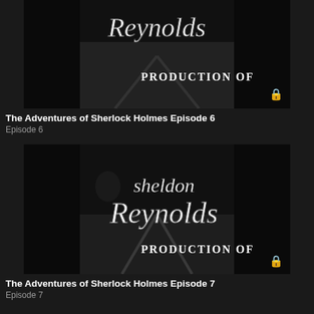[Figure (screenshot): Black and white screenshot of Sheldon Reynolds production title card showing cursive 'Reynolds' text and 'PRODUCTION OF' text on a cobblestone street background, with a lock icon overlay]
The Adventures of Sherlock Holmes Episode 6
Episode 6
[Figure (screenshot): Black and white screenshot of Sheldon Reynolds production title card showing cursive 'sheldon Reynolds' text and 'PRODUCTION OF' text on a cobblestone street background, with a lock icon overlay]
The Adventures of Sherlock Holmes Episode 7
Episode 7